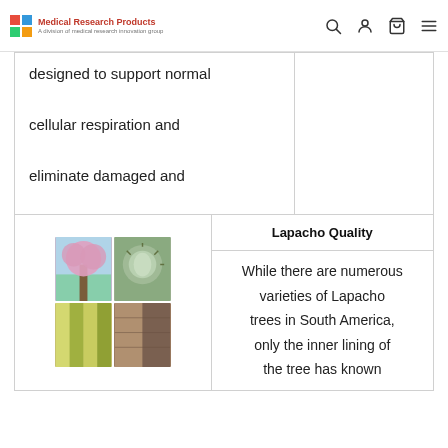Medical Research Products [navigation: search, account, cart, menu]
designed to support normal cellular respiration and eliminate damaged and unhealthy cells.
Lapacho Quality
[Figure (photo): Grid of four photos showing Lapacho tree with pink blossoms, bark close-up, yellow and green plant material, and tree trunk cross-section]
While there are numerous varieties of Lapacho trees in South America, only the inner lining of the tree has known